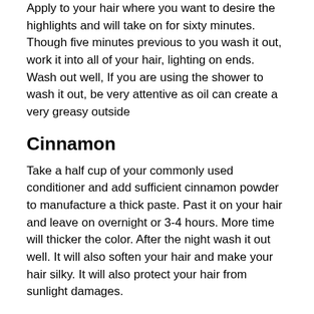Apply to your hair where you want to desire the highlights and will take on for sixty minutes. Though five minutes previous to you wash it out, work it into all of your hair, lighting on ends. Wash out well, If you are using the shower to wash it out, be very attentive as oil can create a very greasy outside
Cinnamon
Take a half cup of your commonly used conditioner and add sufficient cinnamon powder to manufacture a thick paste. Past it on your hair and leave on overnight or 3-4 hours. More time will thicker the color. After the night wash it out well. It will also soften your hair and make your hair silky. It will also protect your hair from sunlight damages.
Honey and Vinegar
You can also use both honey and vinegar for better results. Take two cups of apple cider vinegar and 1 cup of honey and add a tablespoon of warmed coconut oil and mix well all. Apply to your hair top to bottom and leave on well distributed and